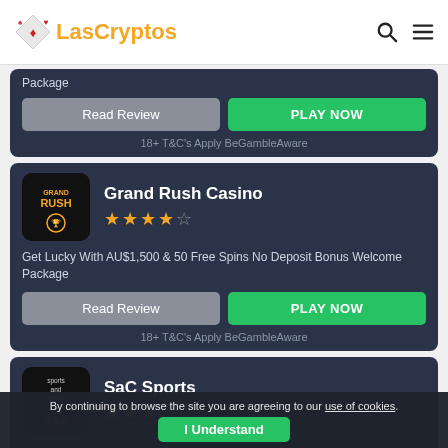LasCryptos
Package
Read Review
PLAY NOW
18+ T&C's Apply BeGambleAware
Grand Rush Casino
★★★★☆ (4 out of 5 stars)
Get Lucky With AU$1,500 & 50 Free Spins No Deposit Bonus Welcome Package
Read Review
PLAY NOW
18+ T&C's Apply BeGambleAware
SaC Sports
★★★☆☆ (3 out of 5 stars)
By continuing to browse the site you are agreeing to our use of cookies.
I Understand